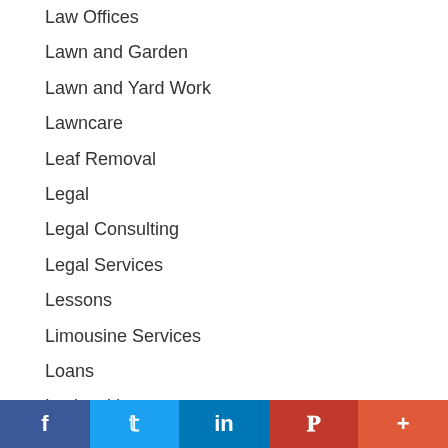Law Offices
Lawn and Garden
Lawn and Yard Work
Lawncare
Leaf Removal
Legal
Legal Consulting
Legal Services
Lessons
Limousine Services
Loans
Locksmiths
Lodging
Lunch